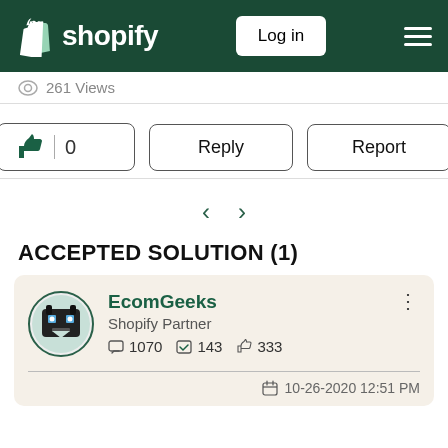shopify | Log in
261 Views
[Figure (screenshot): Action buttons: thumbs up with count 0, Reply button, Report button]
ACCEPTED SOLUTION (1)
[Figure (screenshot): EcomGeeks Shopify Partner user card with stats: 1070 messages, 143 solutions, 333 likes. Timestamp: 10-26-2020 12:51 PM]